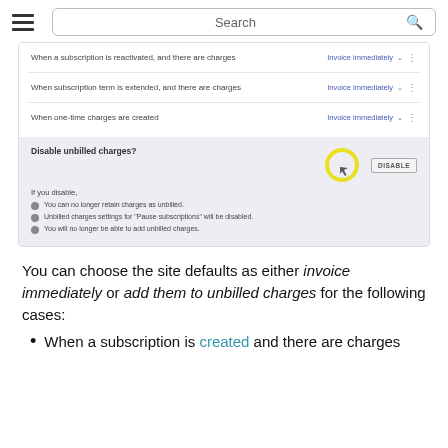Search
[Figure (screenshot): A settings UI screenshot showing a table with subscription billing options (Invoice immediately) and a 'Disable unbilled charges?' panel with a yellow circle cursor highlight and a DISABLE button. Three bullet points list consequences of disabling.]
You can choose the site defaults as either invoice immediately or add them to unbilled charges for the following cases:
When a subscription is created and there are charges